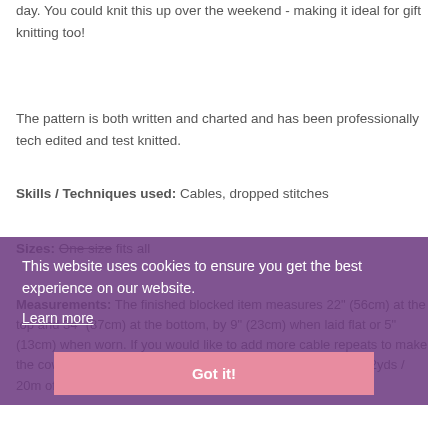day. You could knit this up over the weekend - making it ideal for gift knitting too!
The pattern is both written and charted and has been professionally tech edited and test knitted.
Skills / Techniques used: Cables, dropped stitches
Sizes: One size fits all
Measurements: The finished blocked item measures 22" (56cm) at the top and 34" (87cm) at the bottom, by 9" (23cm) when laid flat or 5" (13cm) when worn. If you would like to add more cable repeats to make the cowl more slouchy, you will require appox 12.5g / 0.4oz, 22yds / 20m of yarn per repeat.
This website uses cookies to ensure you get the best experience on our website. Learn more
Got it!